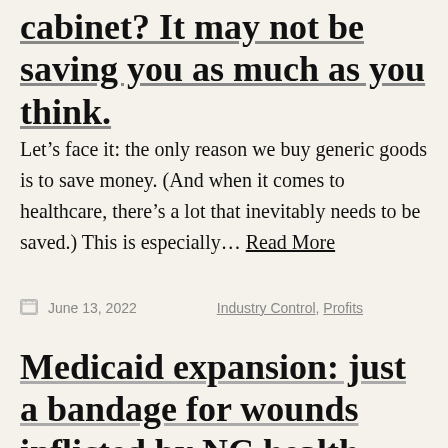cabinet? It may not be saving you as much as you think.
Let's face it: the only reason we buy generic goods is to save money. (And when it comes to healthcare, there's a lot that inevitably needs to be saved.) This is especially… Read More
June 13, 2022    Industry Control, Profits
Medicaid expansion: just a bandage for wounds inflicted by NC health insurers
We've been sounding the alarm for quite some time now. Prescriptions in the bio-CHIP...